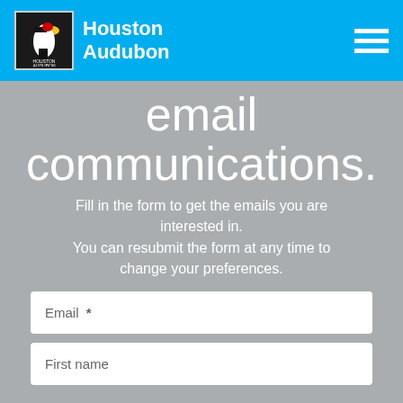Houston Audubon
email communications.
Fill in the form to get the emails you are interested in. You can resubmit the form at any time to change your preferences.
Email  *
First name